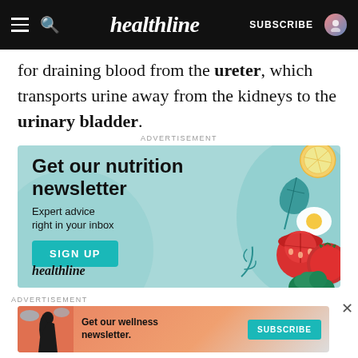healthline — SUBSCRIBE
for draining blood from the ureter, which transports urine away from the kidneys to the urinary bladder.
ADVERTISEMENT
[Figure (illustration): Healthline nutrition newsletter advertisement with food illustrations (lemon, greens, egg, tomatoes, broccoli) on teal background. Text: 'Get our nutrition newsletter. Expert advice right in your inbox.' with SIGN UP button and healthline logo.]
ADVERTISEMENT
[Figure (illustration): Healthline wellness newsletter advertisement with woman figure on orange/red background. Text: 'Get our wellness newsletter.' with SUBSCRIBE button.]